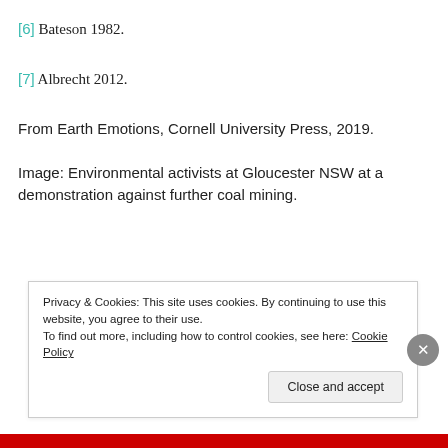[6] Bateson 1982.
[7] Albrecht 2012.
From Earth Emotions, Cornell University Press, 2019.
Image: Environmental activists at Gloucester NSW at a demonstration against further coal mining.
Privacy & Cookies: This site uses cookies. By continuing to use this website, you agree to their use.
To find out more, including how to control cookies, see here: Cookie Policy
Close and accept